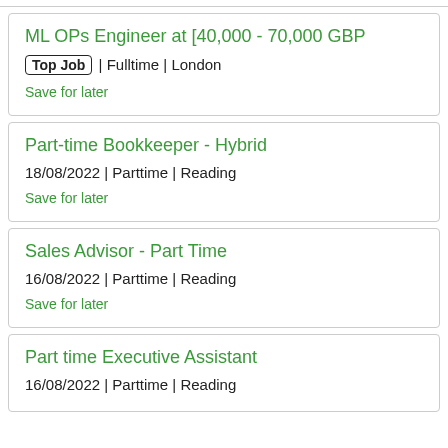ML OPs Engineer at [40,000 - 70,000 GBP
Top Job | Fulltime | London
Save for later
Part-time Bookkeeper - Hybrid
18/08/2022 | Parttime | Reading
Save for later
Sales Advisor - Part Time
16/08/2022 | Parttime | Reading
Save for later
Part time Executive Assistant
16/08/2022 | Parttime | Reading